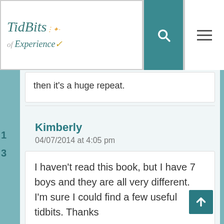[Figure (logo): TidBits of Experience blog logo with teal script text and decorative dots]
then it's a huge repeat.
1
3
Kimberly
04/07/2014 at 4:05 pm
I haven't read this book, but I have 7 boys and they are all very different. I'm sure I could find a few useful tidbits. Thanks